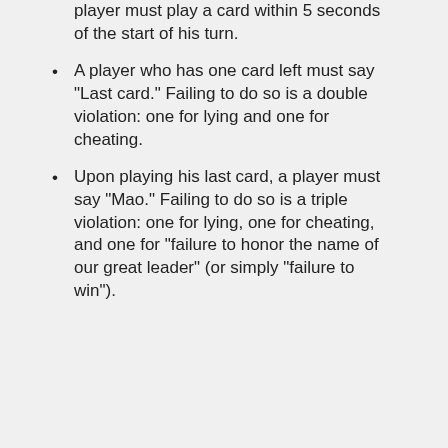player must play a card within 5 seconds of the start of his turn.
A player who has one card left must say "Last card." Failing to do so is a double violation: one for lying and one for cheating.
Upon playing his last card, a player must say "Mao." Failing to do so is a triple violation: one for lying, one for cheating, and one for "failure to honor the name of our great leader" (or simply "failure to win").